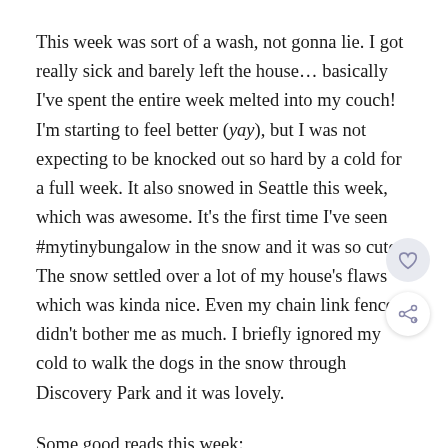This week was sort of a wash, not gonna lie. I got really sick and barely left the house… basically I've spent the entire week melted into my couch! I'm starting to feel better (yay), but I was not expecting to be knocked out so hard by a cold for a full week. It also snowed in Seattle this week, which was awesome. It's the first time I've seen #mytinybungalow in the snow and it was so cute. The snow settled over a lot of my house's flaws which was kinda nice. Even my chain link fence didn't bother me as much. I briefly ignored my cold to walk the dogs in the snow through Discovery Park and it was lovely.
Some good reads this week:
My good friend Elizabeth launched the Healers